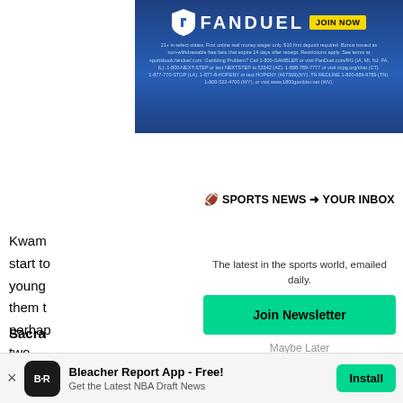[Figure (other): FanDuel sports betting banner ad with shield logo, 'FANDUEL' wordmark, 'JOIN NOW' yellow button, and fine print disclaimer text about gambling restrictions]
🏈 SPORTS NEWS ➜ YOUR INBOX
The latest in the sports world, emailed daily.
Join Newsletter
Maybe Later
Kwam
start to
young
them t
perhap
two.
Sacra
Tyreke
Bleacher Report App - Free!
Get the Latest NBA Draft News